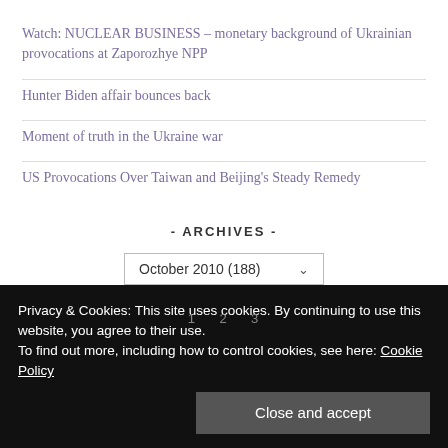Watch: NUCLEAR BUSINESS – monetary background of Ukrainian provocations at Zaporozhye NPP
Hunter Biden affair bounces back
Moment of truth in the Ukraine war
US Provocations Over Taiwan and Beijing's Steady Remedy
- ARCHIVES -
October 2010  (188)
Privacy & Cookies: This site uses cookies. By continuing to use this website, you agree to their use.
To find out more, including how to control cookies, see here: Cookie Policy
Close and accept
1  2  3